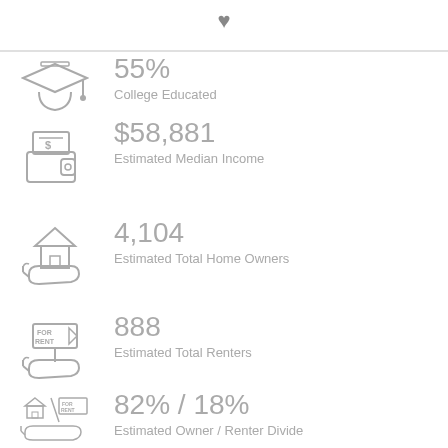[Figure (illustration): Heart icon at top center]
55%
College Educated
$58,881
Estimated Median Income
4,104
Estimated Total Home Owners
888
Estimated Total Renters
82% / 18%
Estimated Owner / Renter Divide